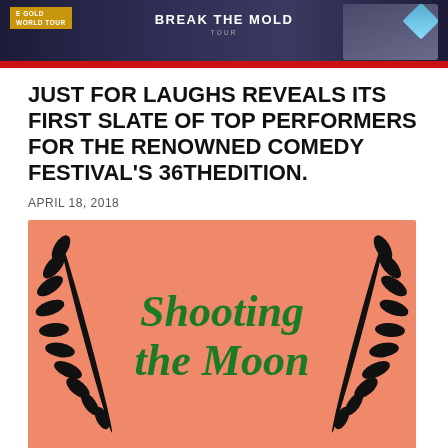[Figure (photo): Banner advertisement at top with dark blue background, gold badge top left, 'BREAK THE MOLD' text center, suited figures right, diamond graphic, red bar at bottom]
JUST FOR LAUGHS REVEALS ITS FIRST SLATE OF TOP PERFORMERS FOR THE RENOWNED COMEDY FESTIVAL'S 36THEDITION.
APRIL 18, 2018
[Figure (illustration): Salmon/coral pink background poster with dark green italic bold serif text 'Shooting the Moon' and black laurel wreaths on left and right sides]